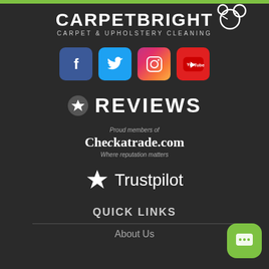[Figure (logo): CarpetBright logo with bubble icon - text reads CARPETBRIGHT CARPET & UPHOLSTERY CLEANING]
[Figure (infographic): Four social media icons: Facebook (blue), Twitter (light blue), Instagram (gradient), YouTube (red)]
[Figure (infographic): Star icon followed by REVIEWS text in large white letters]
[Figure (infographic): Checkatrade.com logo with text 'Proud members of' above and 'Where reputation matters' below]
[Figure (infographic): Trustpilot logo with large star and Trustpilot text]
QUICK LINKS
About Us